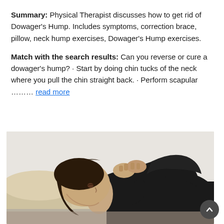Summary: Physical Therapist discusses how to get rid of Dowager's Hump. Includes symptoms, correction brace, pillow, neck hump exercises, Dowager's Hump exercises.
Match with the search results: Can you reverse or cure a dowager's hump? · Start by doing chin tucks of the neck where you pull the chin straight back. · Perform scapular ……… read more
[Figure (photo): A person lying on their back on a surface, hands clasped behind their head/neck, wearing a black top, performing a neck exercise. Light gray/beige background.]